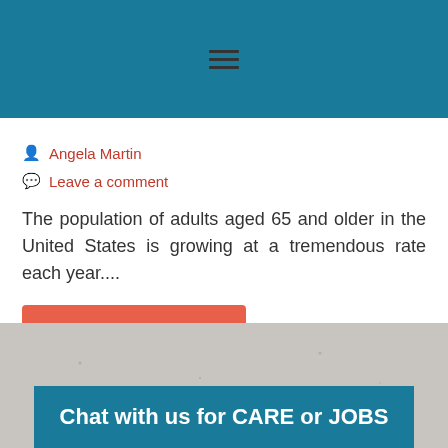Navigation menu header bar
Angela Martin
Leave a comment
The population of adults aged 65 and older in the United States is growing at a tremendous rate each year....
Continue Reading →
Posted in: Children of Aging Parents, Elder Care
[Figure (photo): Bottom section showing a gray textured background with a teal banner reading 'Chat with us for CARE or JOBS']